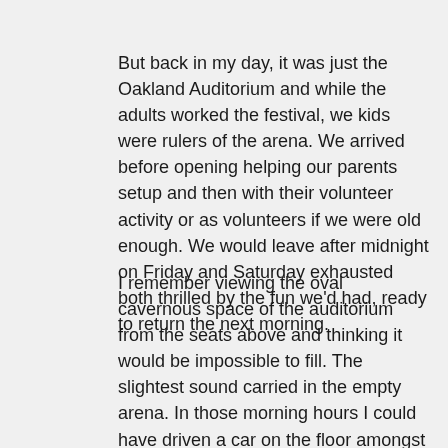But back in my day, it was just the Oakland Auditorium and while the adults worked the festival, we kids were rulers of the arena. We arrived before opening helping our parents setup and then with their volunteer activity or as volunteers if we were old enough. We would leave after midnight on Friday and Saturday exhausted both thrilled by the fun we'd had, ready to return the next morning.
I remember viewing the oval cavernous space of the auditorium from the seats above and thinking it would be impossible to fill. The slightest sound carried in the empty arena. In those morning hours I could have driven a car on the floor amongst the booths, exhibits and around the central stage. Then slowly with each hour after opening, the festival would attract visitors until in the evening hours there was no elbow room left and a cacophony of voices, music and dancing filled the arena.